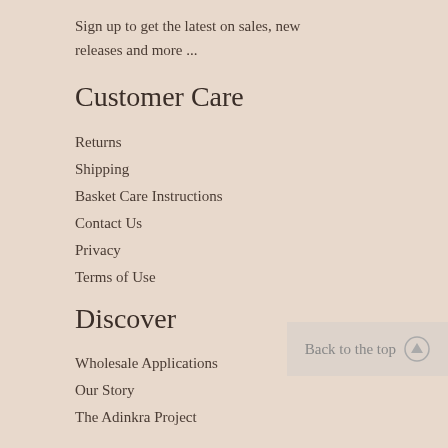Sign up to get the latest on sales, new releases and more ...
Customer Care
Returns
Shipping
Basket Care Instructions
Contact Us
Privacy
Terms of Use
Discover
Wholesale Applications
Our Story
The Adinkra Project